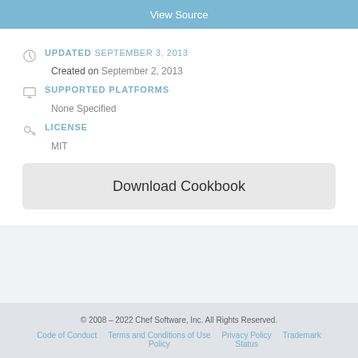View Source
UPDATED SEPTEMBER 3, 2013
Created on September 2, 2013
SUPPORTED PLATFORMS
None Specified
LICENSE
MIT
Download Cookbook
© 2008 – 2022 Chef Software, Inc. All Rights Reserved. Code of Conduct  Terms and Conditions of Use Policy  Privacy Policy  Status  Trademark